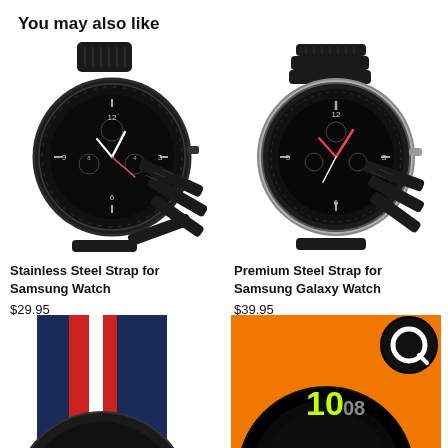You may also like
[Figure (photo): Stainless steel link bracelet watch strap on a Samsung Gear S3 smartwatch, dark/black colorway]
Stainless Steel Strap for Samsung Watch
$29.95
[Figure (photo): Premium steel link bracelet strap on a Samsung Galaxy Watch, silver and black colorway]
Premium Steel Strap for Samsung Galaxy Watch
$39.95
[Figure (photo): Navy/red/white striped nylon NATO watch strap on a Samsung smartwatch, partial view]
[Figure (photo): Orange nylon sport loop strap on a Samsung Galaxy Watch Active, bright yellow-green dial, with a circular logo overlay]